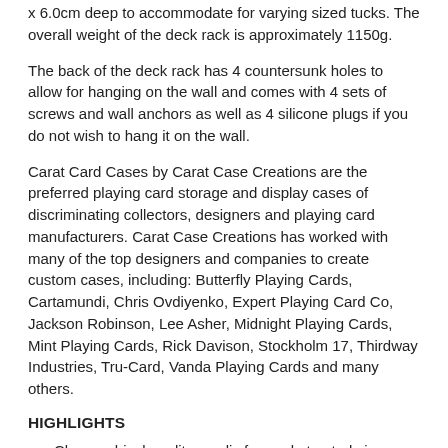x 6.0cm deep to accommodate for varying sized tucks. The overall weight of the deck rack is approximately 1150g.
The back of the deck rack has 4 countersunk holes to allow for hanging on the wall and comes with 4 sets of screws and wall anchors as well as 4 silicone plugs if you do not wish to hang it on the wall.
Carat Card Cases by Carat Case Creations are the preferred playing card storage and display cases of discriminating collectors, designers and playing card manufacturers. Carat Case Creations has worked with many of the top designers and companies to create custom cases, including: Butterfly Playing Cards, Cartamundi, Chris Ovdiyenko, Expert Playing Card Co, Jackson Robinson, Lee Asher, Midnight Playing Cards, Mint Playing Cards, Rick Davison, Stockholm 17, Thirdway Industries, Tru-Card, Vanda Playing Cards and many others.
HIGHLIGHTS
Clear archival quality acrylic for unobstructed views from all sides and safe storage of valuable decks
Beveled edges and rounded corners for an elegant look and feel
Holds 24 decks in 3 columns of 8 with each slot measuring 9.5 x 2.4 x 6.0cm
Approximate weight of 1150g